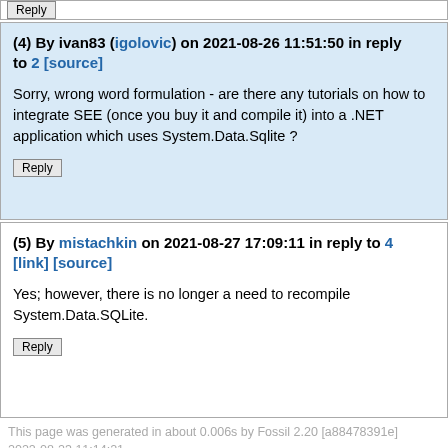Reply (button)
(4) By ivan83 (igolovic) on 2021-08-26 11:51:50 in reply to 2 [source]
Sorry, wrong word formulation - are there any tutorials on how to integrate SEE (once you buy it and compile it) into a .NET application which uses System.Data.Sqlite ?
Reply (button)
(5) By mistachkin on 2021-08-27 17:09:11 in reply to 4 [link] [source]
Yes; however, there is no longer a need to recompile System.Data.SQLite.
Reply (button)
This page was generated in about 0.006s by Fossil 2.20 [a88478391e] 2022-08-23 11:14:21